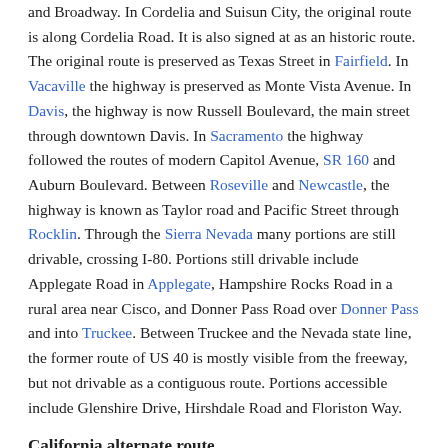and Broadway. In Cordelia and Suisun City, the original route is along Cordelia Road. It is also signed at as an historic route. The original route is preserved as Texas Street in Fairfield. In Vacaville the highway is preserved as Monte Vista Avenue. In Davis, the highway is now Russell Boulevard, the main street through downtown Davis. In Sacramento the highway followed the routes of modern Capitol Avenue, SR 160 and Auburn Boulevard. Between Roseville and Newcastle, the highway is known as Taylor road and Pacific Street through Rocklin. Through the Sierra Nevada many portions are still drivable, crossing I-80. Portions still drivable include Applegate Road in Applegate, Hampshire Rocks Road in a rural area near Cisco, and Donner Pass Road over Donner Pass and into Truckee. Between Truckee and the Nevada state line, the former route of US 40 is mostly visible from the freeway, but not drivable as a contiguous route. Portions accessible include Glenshire Drive, Hirshdale Road and Floriston Way.
California alternate route
From 1954 to 1964, an alternate route US 40 was available especially during winter to avoid Donner Pass. Donner Pass, elevation 7,085 ft (2,160 m), might be closed in winter. This